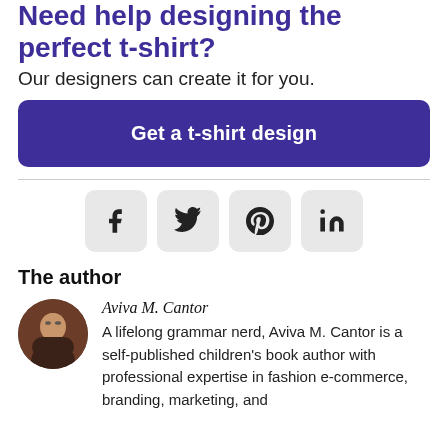Need help designing the perfect t-shirt?
Our designers can create it for you.
Get a t-shirt design
[Figure (infographic): Social media share buttons: Facebook (f), Twitter (bird), Pinterest (P), LinkedIn (in)]
The author
Aviva M. Cantor
A lifelong grammar nerd, Aviva M. Cantor is a self-published children's book author with professional expertise in fashion e-commerce, branding, marketing, and